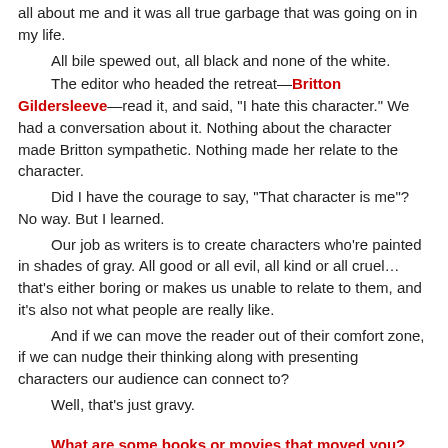all about me and it was all true garbage that was going on in my life.
All bile spewed out, all black and none of the white.
The editor who headed the retreat—Britton Gildersleeve—read it, and said, “I hate this character.” We had a conversation about it. Nothing about the character made Britton sympathetic. Nothing made her relate to the character.
Did I have the courage to say, “That character is me”? No way. But I learned.
Our job as writers is to create characters who’re painted in shades of gray. All good or all evil, all kind or all cruel… that’s either boring or makes us unable to relate to them, and it’s also not what people are really like.
And if we can move the reader out of their comfort zone, if we can nudge their thinking along with presenting characters our audience can connect to?
Well, that’s just gravy.
What are some books or movies that moved you? Still-amazed-minds-after-all-these-years want to know...